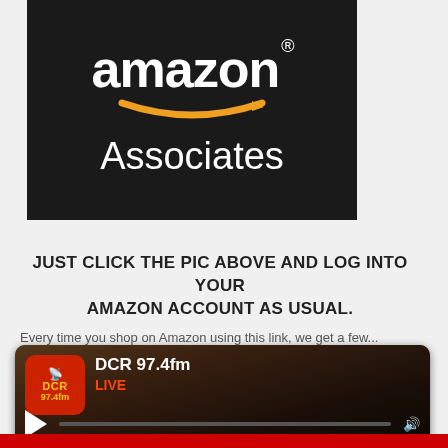[Figure (logo): Amazon Associates logo on dark background with amazon text and smile arrow]
JUST CLICK THE PIC ABOVE AND LOG INTO YOUR AMAZON ACCOUNT AS USUAL.
Every time you shop on Amazon using this link, we get a few...
[Figure (screenshot): DCR 97.4fm radio player widget showing LIVE status with play button and volume control]